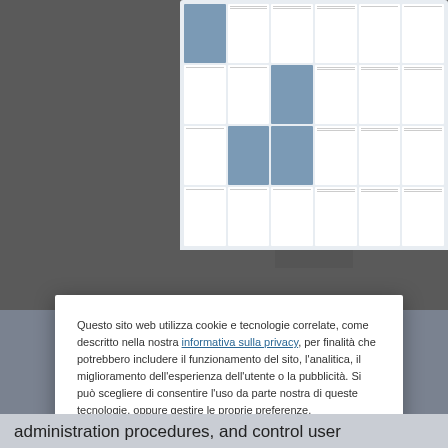[Figure (screenshot): Monitor screen showing a document management grid interface with thumbnail cards]
Questo sito web utilizza cookie e tecnologie correlate, come descritto nella nostra informativa sulla privacy, per finalità che potrebbero includere il funzionamento del sito, l'analitica, il miglioramento dell'esperienza dell'utente o la pubblicità. Si può scegliere di consentire l'uso da parte nostra di queste tecnologie, oppure gestire le proprie preferenze.
Gestisci impostazioni
Accetta Tutto
Rifiuta tutto
Informativa sui cookie
administration procedures, and control user